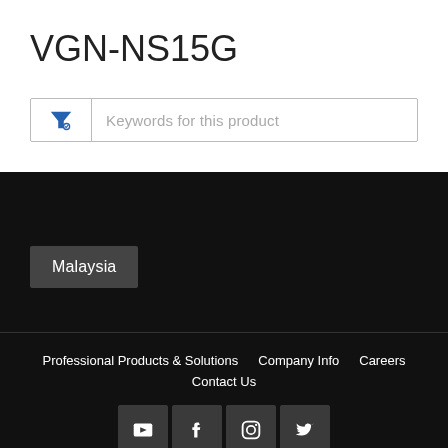VGN-NS15G
[Figure (screenshot): Search/filter input box with blue funnel icon and placeholder text 'Keywords for this product']
Malaysia
Professional Products & Solutions   Company Info   Careers   Contact Us
[Figure (infographic): Social media icons row: YouTube, Facebook, Instagram, Twitter]